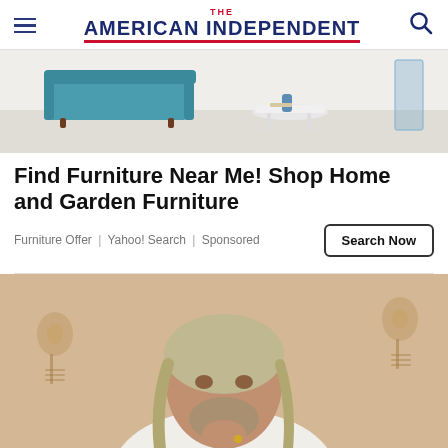THE AMERICAN INDEPENDENT
[Figure (photo): Interior room with teal sofa and white round coffee table on light wood floor]
Find Furniture Near Me! Shop Home and Garden Furniture
Furniture Offer | Yahoo! Search | Sponsored
[Figure (photo): Close-up photo of a middle-aged man with long grey-blonde hair and beard wearing a white shirt, resting his chin on his hand, seated in front of a beige floral background]